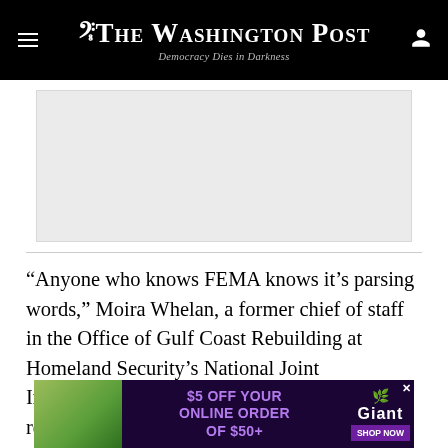The Washington Post — Democracy Dies in Darkness
[Figure (other): Advertisement placeholder banner (gray rectangle)]
“Anyone who knows FEMA knows it’s parsing words,” Moira Whelan, a former chief of staff in the Office of Gulf Coast Rebuilding at Homeland Security’s National Joint Information Center, told The Post. The disaster relief funding left untouched by the transfer covers post-storm assistance and the rebuilding of public
[Figure (other): Advertisement: $5 OFF YOUR ONLINE ORDER OF $50+ — Giant — SHOP NOW]